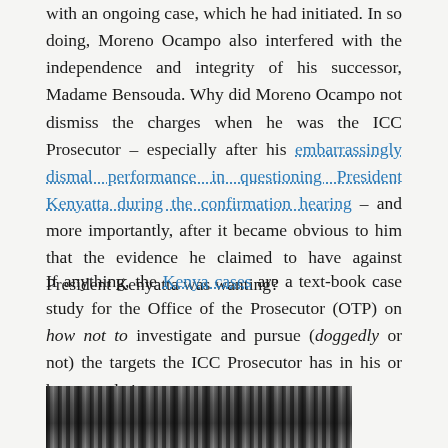with an ongoing case, which he had initiated. In so doing, Moreno Ocampo also interfered with the independence and integrity of his successor, Madame Bensouda. Why did Moreno Ocampo not dismiss the charges when he was the ICC Prosecutor – especially after his embarrassingly dismal performance in questioning President Kenyatta during the confirmation hearing – and more importantly, after it became obvious to him that the evidence he claimed to have against President Kenyatta was wanting?
If anything, the Kenya cases are a text-book case study for the Office of the Prosecutor (OTP) on how not to investigate and pursue (doggedly or not) the targets the ICC Prosecutor has in his or her cross-hairs.
[Figure (photo): Black and white photograph, partially visible at bottom of page, showing what appears to be people or objects in an outdoor scene.]